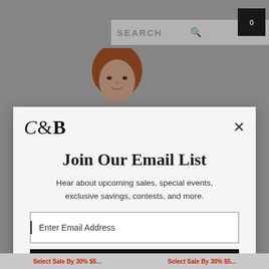[Figure (screenshot): Website header with search bar and cart icon on grey background, with two partial images of a red-haired woman model visible behind a modal popup]
[Figure (logo): C&B brand logo in serif font]
Join Our Email List
Hear about upcoming sales, special events, exclusive savings, contests, and more.
Enter Email Address
SIGN UP FOR EMAILS
Privacy Policy